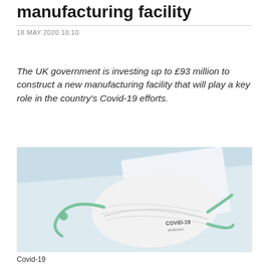manufacturing facility
18 MAY 2020 10:10
The UK government is investing up to £93 million to construct a new manufacturing facility that will play a key role in the country's Covid-19 efforts.
[Figure (photo): A white N95-style face mask with green straps and 'COVID-19 protection' printed on it, photographed on a light blue background with a white surface.]
Covid-19